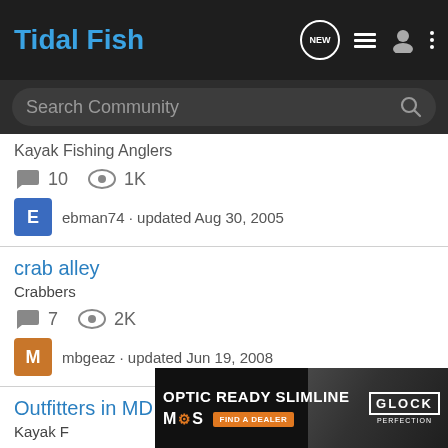Tidal Fish
Search Community
Kayak Fishing Anglers · 10 comments · 1K views · ebman74 · updated Aug 30, 2005
crab alley · Crabbers · 7 comments · 2K views · mbgeaz · updated Jun 19, 2008
Outfitters in MD · Kayak F... · 6 comments
[Figure (screenshot): Advertisement banner: OPTIC READY SLIMLINE, MOS, FIND A DEALER, Glock Perfection logo with gun image]